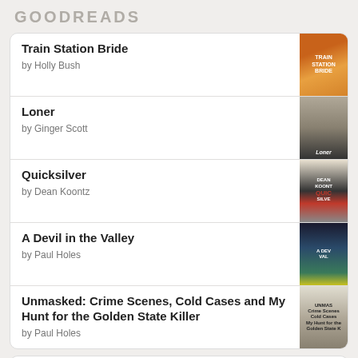GOODREADS
Train Station Bride by Holly Bush
Loner by Ginger Scott
Quicksilver by Dean Koontz
A Devil in the Valley by Paul Holes
Unmasked: Crime Scenes, Cold Cases and My Hunt for the Golden State Killer by Paul Holes
[Figure (logo): Goodreads logo at bottom of card]